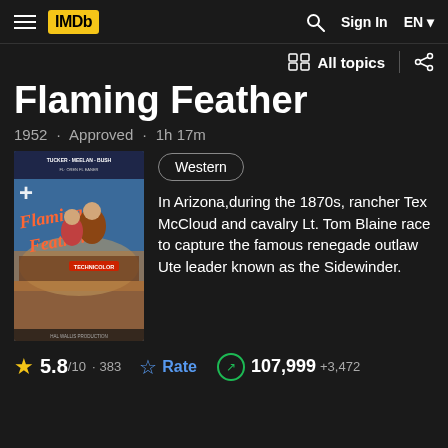IMDb — Sign In EN
All topics
Flaming Feather
1952 · Approved · 1h 17m
[Figure (photo): Movie poster for Flaming Feather (1952), a Western film starring Tucker, Meelan, and Rush. Shows a man and woman in foreground with scene action in background. TECHNICOLOR label visible.]
Western
In Arizona,during the 1870s, rancher Tex McCloud and cavalry Lt. Tom Blaine race to capture the famous renegade outlaw Ute leader known as the Sidewinder.
5.8/10 · 383  Rate  107,999 +3,472